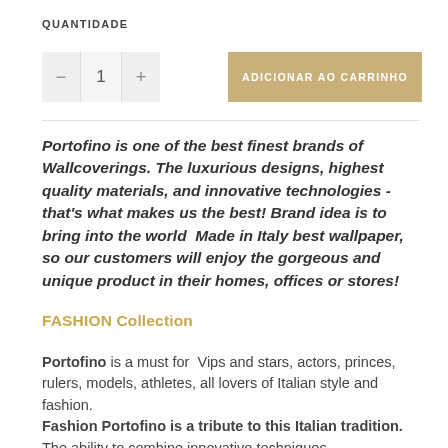QUANTIDADE
- 1 +
ADICIONAR AO CARRINHO
Portofino is one of the best finest brands of Wallcoverings. The luxurious designs, highest quality materials, and innovative technologies - that's what makes us the best! Brand idea is to bring into the world  Made in Italy best wallpaper, so our customers will enjoy the gorgeous and unique product in their homes, offices or stores!
FASHION Collection
Portofino is a must for  Vips and stars, actors, princes, rulers, models, athletes, all lovers of Italian style and fashion.
Fashion Portofino is a tribute to this Italian tradition. The ability to combine innovative techniques...